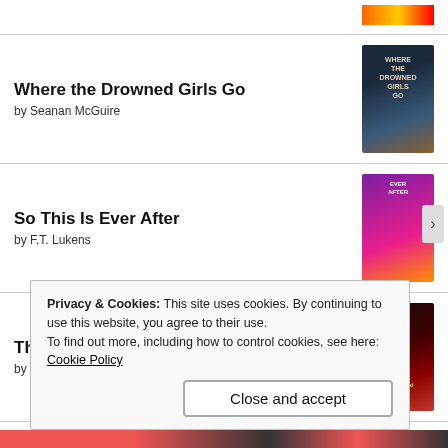Where the Drowned Girls Go by Seanan McGuire
So This Is Ever After by F.T. Lukens
The Empress of Salt and Fortune by Nghi Vo
Lore Olympus: Volume One by Rachel Smythe
Privacy & Cookies: This site uses cookies. By continuing to use this website, you agree to their use. To find out more, including how to control cookies, see here: Cookie Policy
Close and accept